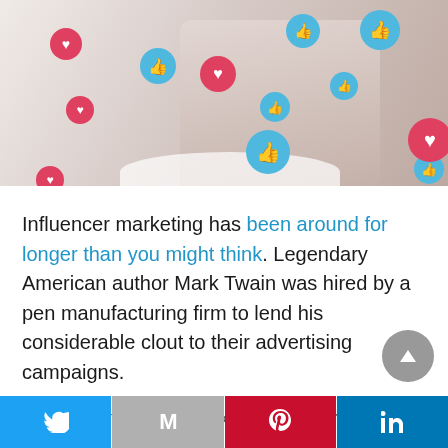[Figure (photo): Woman sitting at a table with a laptop, surrounded by floating social media like (thumbs up) and heart reaction icons in blue and pink/red colors, suggesting social media engagement and influencer marketing.]
Influencer marketing has been around for longer than you might think. Legendary American author Mark Twain was hired by a pen manufacturing firm to lend his considerable clout to their advertising campaigns.
The rise of platforms like YouTube has seen a
[Figure (other): Social media share bar at the bottom with Twitter (blue), Gmail/Email (gray), Pinterest (red), and LinkedIn (blue) icons.]